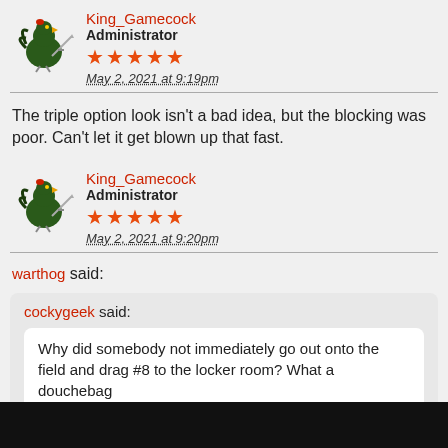King_Gamecock
Administrator
★★★★★
May 2, 2021 at 9:19pm
The triple option look isn't a bad idea, but the blocking was poor. Can't let it get blown up that fast.
King_Gamecock
Administrator
★★★★★
May 2, 2021 at 9:20pm
warthog said:
cockygeek said:
Why did somebody not immediately go out onto the field and drag #8 to the locker room? What a douchebag
Notice #4 from Delaware shoved #8 and a coach immediately grabbed his face mask and pulled back on the sideline.